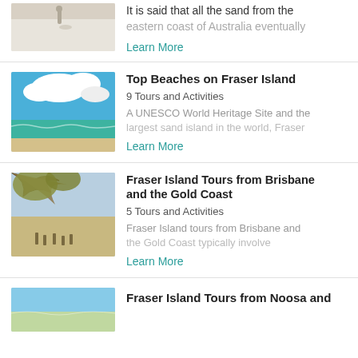[Figure (photo): Person walking on white sand beach, top portion only visible]
It is said that all the sand from the eastern coast of Australia eventually
Learn More
[Figure (photo): Fraser Island beach with blue sky, white clouds and turquoise ocean water]
Top Beaches on Fraser Island
9 Tours and Activities
A UNESCO World Heritage Site and the largest sand island in the world, Fraser
Learn More
[Figure (photo): Tree branches overhead with people sitting on beach in background]
Fraser Island Tours from Brisbane and the Gold Coast
5 Tours and Activities
Fraser Island tours from Brisbane and the Gold Coast typically involve
Learn More
[Figure (photo): Partial beach/sky photo]
Fraser Island Tours from Noosa and